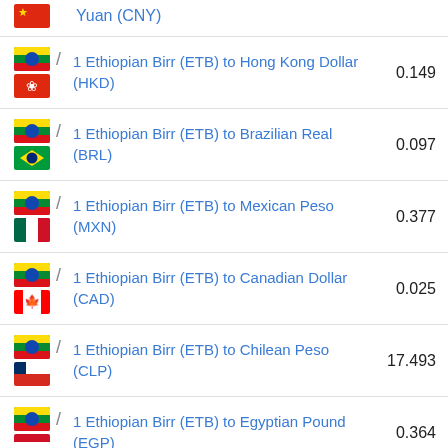Yuan (CNY)
1 Ethiopian Birr (ETB) to Hong Kong Dollar (HKD) — 0.149
1 Ethiopian Birr (ETB) to Brazilian Real (BRL) — 0.097
1 Ethiopian Birr (ETB) to Mexican Peso (MXN) — 0.377
1 Ethiopian Birr (ETB) to Canadian Dollar (CAD) — 0.025
1 Ethiopian Birr (ETB) to Chilean Peso (CLP) — 17.493
1 Ethiopian Birr (ETB) to Egyptian Pound (EGP) — 0.364
1 Ethiopian Birr (ETB) to New Zealand Dollar (NZD) — 0.03